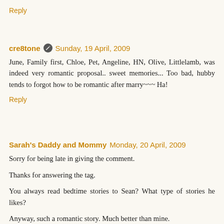Reply
cre8tone  Sunday, 19 April, 2009
June, Family first, Chloe, Pet, Angeline, HN, Olive, Littlelamb, was indeed very romantic proposal.. sweet memories... Too bad, hubby tends to forgot how to be romantic after marry~~~ Ha!
Reply
Sarah's Daddy and Mommy  Monday, 20 April, 2009
Sorry for being late in giving the comment.
Thanks for answering the tag.
You always read bedtime stories to Sean? What type of stories he likes?
Anyway, such a romantic story. Much better than mine. It is fate that you and your beloved finally get together.